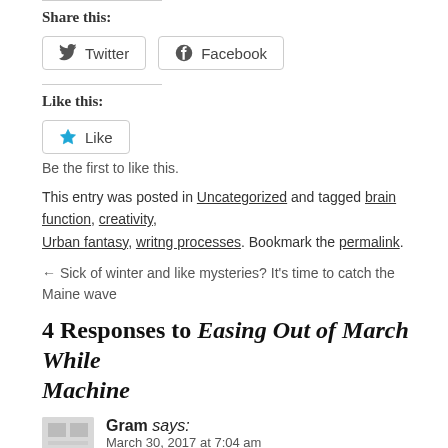Share this:
Twitter  Facebook
Like this:
Like  Be the first to like this.
This entry was posted in Uncategorized and tagged brain function, creativity, Urban fantasy, writng processes. Bookmark the permalink.
← Sick of winter and like mysteries? It's time to catch the Maine wave
4 Responses to Easing Out of March While Machine
Gram says:
March 30, 2017 at 7:04 am